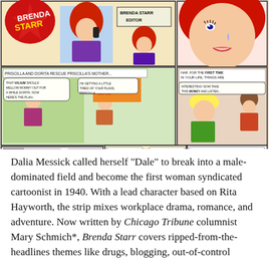[Figure (illustration): Brenda Starr comic strip panels showing multiple scenes: top row with Brenda Starr at an editor's desk and a close-up of a woman's face; middle row with scenes of characters at a motel and in conversation; bottom row with phone call scenes between characters including a man in sunglasses.]
Dalia Messick called herself “Dale” to break into a male-dominated field and become the first woman syndicated cartoonist in 1940. With a lead character based on Rita Hayworth, the strip mixes workplace drama, romance, and adventure. Now written by Chicago Tribune columnist Mary Schmich*, Brenda Starr covers ripped-from-the-headlines themes like drugs, blogging, out-of-control